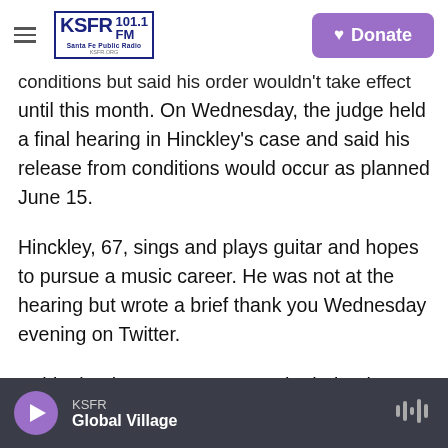KSFR 101.1 FM Santa Fe Public Radio | Donate
conditions but said his order wouldn't take effect until this month. On Wednesday, the judge held a final hearing in Hinckley's case and said his release from conditions would occur as planned June 15.
Hinckley, 67, sings and plays guitar and hopes to pursue a music career. He was not at the hearing but wrote a brief thank you Wednesday evening on Twitter.
"A big thank you to everyone who helped me get my unconditional release," he wrote. "What a long strange trip it has been. Now it's time to rock and roll."
KSFR | Global Village